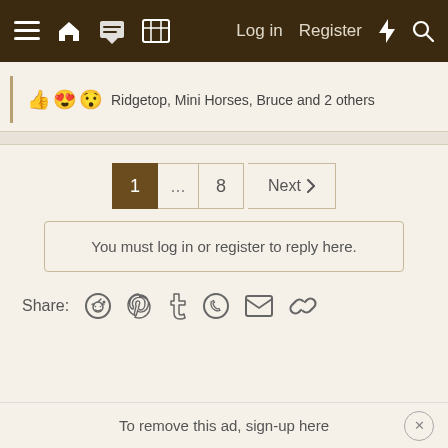Log in  Register
Ridgetop, Mini Horses, Bruce and 2 others
1 ... 8 Next
You must log in or register to reply here.
Share:
To remove this ad, sign-up here